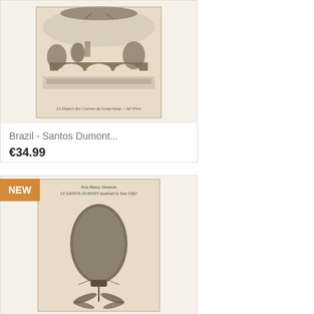[Figure (photo): Vintage postcard showing a bridge scene with crowd, sepia tone. Caption reads 'Le Depart des Courses de Longchamp -- AD Phot']
Brazil - Santos Dumont...
€34.99
NEW
[Figure (photo): Vintage postcard showing Santos Dumont airship near the Eiffel Tower. Header reads 'Prix Henry Deutsch - LE SANTOS DUMONT doublant la Tour Eiffel']